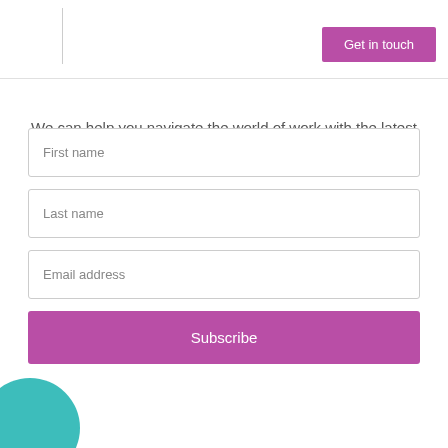Get in touch
We can help you navigate the world of work with the latest job search tips, news and updates direct to your inbox.
First name
Last name
Email address
Subscribe